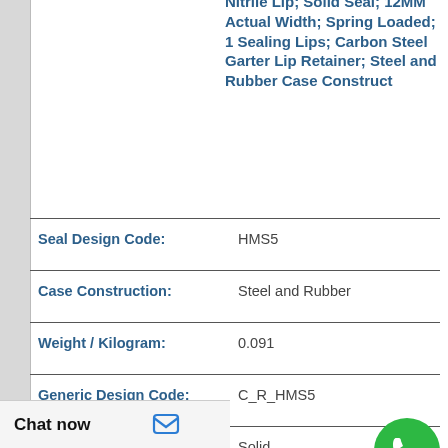Nitrile Lip; Solid Seal; 12MM Actual Width; Spring Loaded; 1 Sealing Lips; Carbon Steel Garter Lip Retainer; Steel and Rubber Case Construction
| Property | Value |
| --- | --- |
| Seal Design Code: | HMS5 |
| Case Construction: | Steel and Rubber |
| Weight / Kilogram: | 0.091 |
| Generic Design Code: | C_R_HMS5 |
|  | Solid |
[Figure (logo): WhatsApp green circle logo with phone icon, labeled 'WhatsApp Online']
Chat now